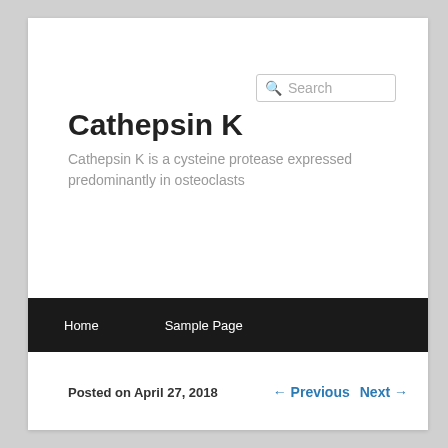Search
Cathepsin K
Cathepsin K is a cysteine protease expressed predominantly in osteoclasts
Home   Sample Page
Posted on April 27, 2018
← Previous   Next →